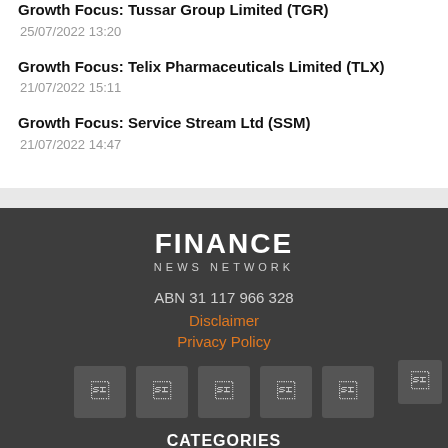Growth Focus: Tussar Group Limited (TGR)
25/07/2022 13:20
Growth Focus: Telix Pharmaceuticals Limited (TLX)
21/07/2022 15:11
Growth Focus: Service Stream Ltd (SSM)
21/07/2022 14:47
FINANCE NEWS NETWORK
ABN 31 117 966 328
Disclaimer
Privacy Policy
CATEGORIES